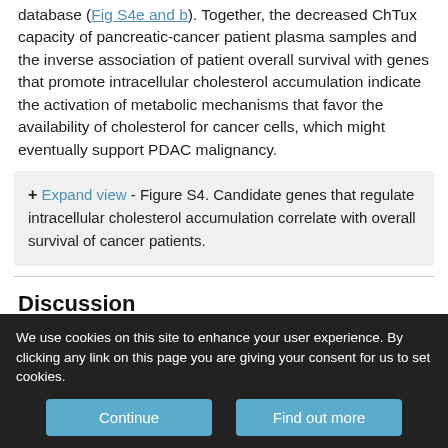database (Fig S4e and b). Together, the decreased ChTux capacity of pancreatic-cancer patient plasma samples and the inverse association of patient overall survival with genes that promote intracellular cholesterol accumulation indicate the activation of metabolic mechanisms that favor the availability of cholesterol for cancer cells, which might eventually support PDAC malignancy.
+ Expand view - Figure S4. Candidate genes that regulate intracellular cholesterol accumulation correlate with overall survival of cancer patients.
Discussion
The here presented data provide evidence that efficient
We use cookies on this site to enhance your user experience. By clicking any link on this page you are giving your consent for us to set cookies.